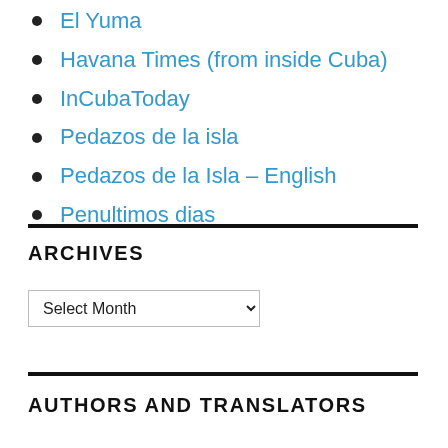El Yuma
Havana Times (from inside Cuba)
InCubaToday
Pedazos de la isla
Pedazos de la Isla – English
Penultimos dias
ARCHIVES
Select Month
AUTHORS AND TRANSLATORS